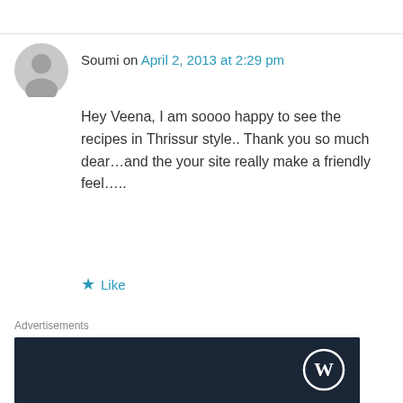Soumi on April 2, 2013 at 2:29 pm
Hey Veena, I am soooo happy to see the recipes in Thrissur style.. Thank you so much dear…and the your site really make a friendly feel…..
Like
Advertisements
[Figure (other): WordPress advertisement banner with dark navy background showing WordPress logo, text 'Opinions.' and bold text 'We all have them!']